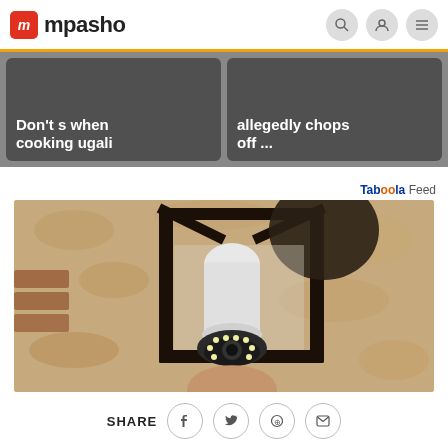mpasho
Don't s when cooking ugali
allegedly chops off ...
Taboola Feed
[Figure (photo): A security camera shaped like a light bulb installed in a black outdoor lantern fixture mounted on a rough stone/brick wall]
SHARE